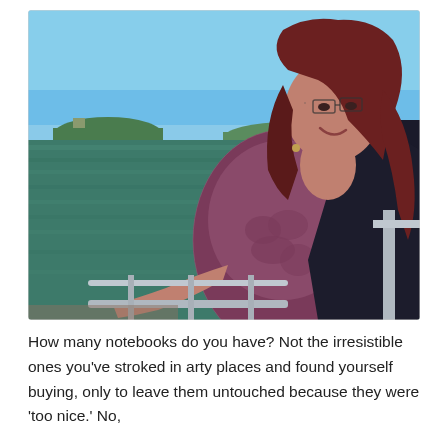[Figure (photo): A smiling woman with reddish-brown hair and glasses, wearing a purple/mauve patterned top and dark jacket, standing on a boat railing with a water scene and green islands in the background under a blue sky.]
How many notebooks do you have? Not the irresistible ones you've stroked in arty places and found yourself buying, only to leave them untouched because they were 'too nice.' No,